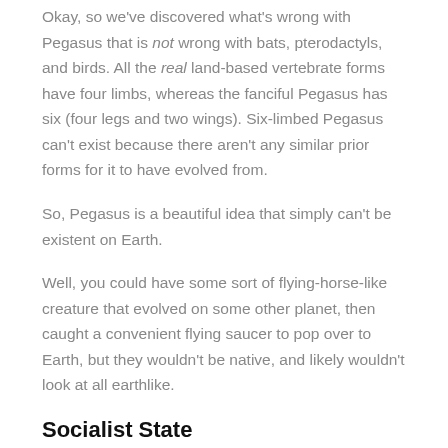Okay, so we've discovered what's wrong with Pegasus that is not wrong with bats, pterodactyls, and birds. All the real land-based vertebrate forms have four limbs, whereas the fanciful Pegasus has six (four legs and two wings). Six-limbed Pegasus can't exist because there aren't any similar prior forms for it to have evolved from.
So, Pegasus is a beautiful idea that simply can't be existent on Earth.
Well, you could have some sort of flying-horse-like creature that evolved on some other planet, then caught a convenient flying saucer to pop over to Earth, but they wouldn't be native, and likely wouldn't look at all earthlike.
Socialist State